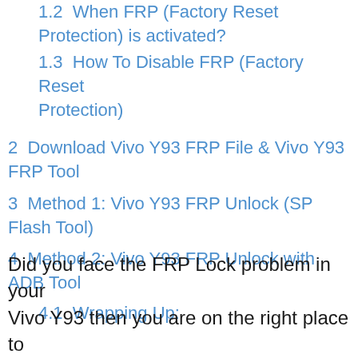1.2 When FRP (Factory Reset Protection) is activated?
1.3 How To Disable FRP (Factory Reset Protection)
2 Download Vivo Y93 FRP File & Vivo Y93 FRP Tool
3 Method 1: Vivo Y93 FRP Unlock (SP Flash Tool)
4 Method 2: Vivo Y93 FRP Unlock with ADB Tool
4.1 Wrapping Up:
Did you face the FRP Lock problem in your Vivo Y93 then you are on the right place to